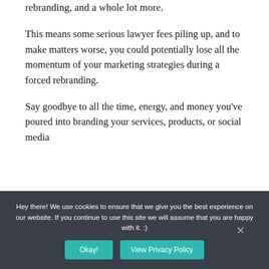We're talking cease and desists, forced rebranding, and a whole lot more.
This means some serious lawyer fees piling up, and to make matters worse, you could potentially lose all the momentum of your marketing strategies during a forced rebranding.
Say goodbye to all the time, energy, and money you've poured into branding your services, products, or social media
Hey there! We use cookies to ensure that we give you the best experience on our website. If you continue to use this site we will assume that you are happy with it. :)